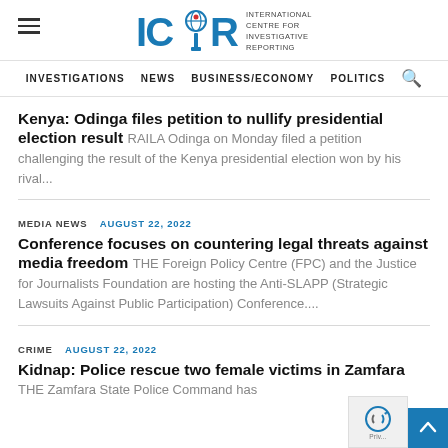ICIR — International Centre for Investigative Reporting
INVESTIGATIONS  NEWS  BUSINESS/ECONOMY  POLITICS
Kenya: Odinga files petition to nullify presidential election result
RAILA Odinga on Monday filed a petition challenging the result of the Kenya presidential election won by his rival...
MEDIA NEWS  AUGUST 22, 2022
Conference focuses on countering legal threats against media freedom
THE Foreign Policy Centre (FPC) and the Justice for Journalists Foundation are hosting the Anti-SLAPP (Strategic Lawsuits Against Public Participation) Conference....
CRIME  AUGUST 22, 2022
Kidnap: Police rescue two female victims in Zamfara
THE Zamfara State Police Command has